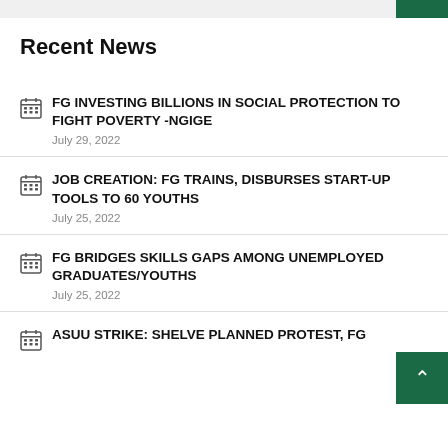Recent News
FG INVESTING BILLIONS IN SOCIAL PROTECTION TO FIGHT POVERTY -NGIGE — July 29, 2022
JOB CREATION: FG TRAINS, DISBURSES START-UP TOOLS TO 60 YOUTHS — July 25, 2022
FG BRIDGES SKILLS GAPS AMONG UNEMPLOYED GRADUATES/YOUTHS — July 25, 2022
ASUU STRIKE: SHELVE PLANNED PROTEST, FG